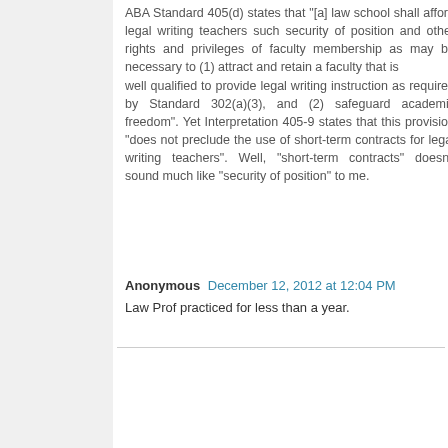ABA Standard 405(d) states that "[a] law school shall afford legal writing teachers such security of position and other rights and privileges of faculty membership as may be necessary to (1) attract and retain a faculty that is well qualified to provide legal writing instruction as required by Standard 302(a)(3), and (2) safeguard academic freedom". Yet Interpretation 405-9 states that this provision "does not preclude the use of short-term contracts for legal writing teachers". Well, "short-term contracts" doesn't sound much like "security of position" to me.
Anonymous  December 12, 2012 at 12:04 PM
Law Prof practiced for less than a year.
Reply